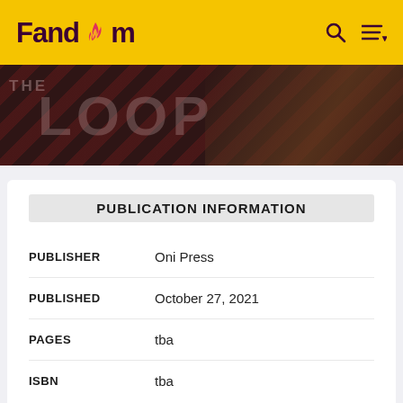Fandom
[Figure (screenshot): Fandom website banner showing 'THE LOOP' text with a dark background featuring a military figure and diagonal stripe overlay]
PUBLICATION INFORMATION
| Field | Value |
| --- | --- |
| PUBLISHER | Oni Press |
| PUBLISHED | October 27, 2021 |
| PAGES | tba |
| ISBN | tba |